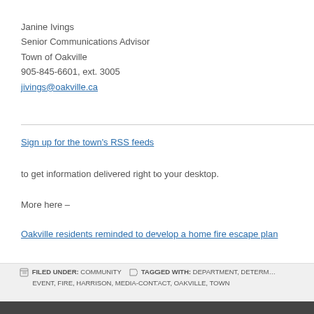Janine Ivings
Senior Communications Advisor
Town of Oakville
905-845-6601, ext. 3005
jivings@oakville.ca
Sign up for the town's RSS feeds to get information delivered right to your desktop.
More here –
Oakville residents reminded to develop a home fire escape plan
FILED UNDER: COMMUNITY   TAGGED WITH: DEPARTMENT, DETERM... EVENT, FIRE, HARRISON, MEDIA-CONTACT, OAKVILLE, TOWN